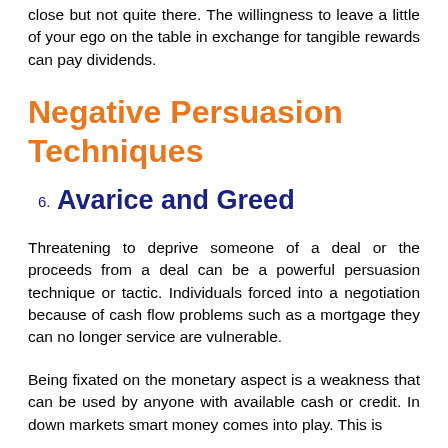close but not quite there. The willingness to leave a little of your ego on the table in exchange for tangible rewards can pay dividends.
Negative Persuasion Techniques
6. Avarice and Greed
Threatening to deprive someone of a deal or the proceeds from a deal can be a powerful persuasion technique or tactic. Individuals forced into a negotiation because of cash flow problems such as a mortgage they can no longer service are vulnerable.
Being fixated on the monetary aspect is a weakness that can be used by anyone with available cash or credit. In down markets smart money comes into play. This is